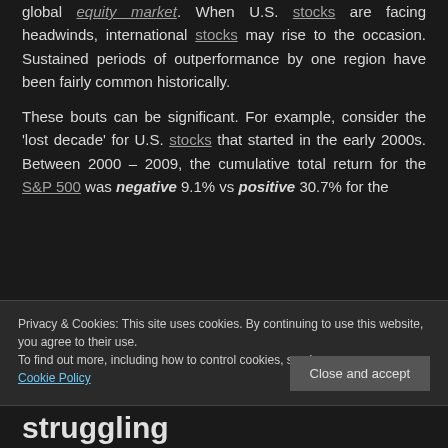global equity market. When U.S. stocks are facing headwinds, international stocks may rise to the occasion. Sustained periods of outperformance by one region have been fairly common historically.
These bouts can be significant. For example, consider the 'lost decade' for U.S. stocks that started in the early 2000s. Between 2000 – 2009, the cumulative total return for the S&P 500 was negative 9.1% vs positive 30.7% for the
Privacy & Cookies: This site uses cookies. By continuing to use this website, you agree to their use.
To find out more, including how to control cookies, see here: Cookie Policy
struggling